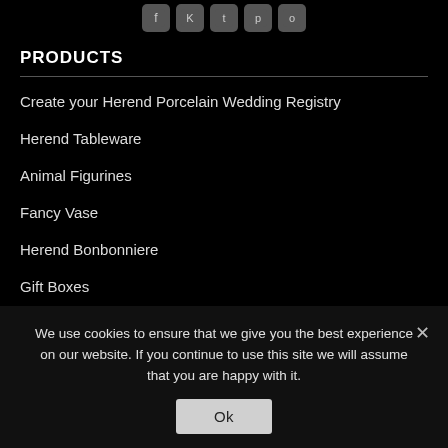[Figure (other): Row of social media icons (Facebook, Twitter/X, Twitter bird, Pinterest, Instagram) in grey rounded squares]
PRODUCTS
Create your Herend Porcelain Wedding Registry
Herend Tableware
Animal Figurines
Fancy Vase
Herend Bonbonniere
Gift Boxes
SHOP
We use cookies to ensure that we give you the best experience on our website. If you continue to use this site we will assume that you are happy with it.